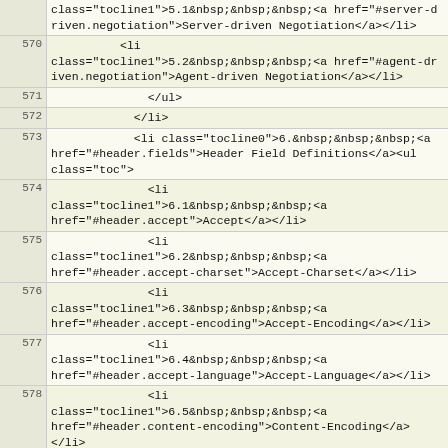| line | code |
| --- | --- |
|  | class="tocline1">5.1&nbsp;&nbsp;&nbsp;<a href="#server-driven.negotiation">Server-driven Negotiation</a></li> |
| 570 | <li class="tocline1">5.2&nbsp;&nbsp;&nbsp;<a href="#agent-driven.negotiation">Agent-driven Negotiation</a></li> |
| 571 | </ul> |
| 572 | </li> |
| 573 | <li class="tocline0">6.&nbsp;&nbsp;&nbsp;<a href="#header.fields">Header Field Definitions</a><ul class="toc"> |
| 574 | <li class="tocline1">6.1&nbsp;&nbsp;&nbsp;<a href="#header.accept">Accept</a></li> |
| 575 | <li class="tocline1">6.2&nbsp;&nbsp;&nbsp;<a href="#header.accept-charset">Accept-Charset</a></li> |
| 576 | <li class="tocline1">6.3&nbsp;&nbsp;&nbsp;<a href="#header.accept-encoding">Accept-Encoding</a></li> |
| 577 | <li class="tocline1">6.4&nbsp;&nbsp;&nbsp;<a href="#header.accept-language">Accept-Language</a></li> |
| 578 | <li class="tocline1">6.5&nbsp;&nbsp;&nbsp;<a href="#header.content-encoding">Content-Encoding</a></li> |
| 579 | <li class="tocline1">6.6&nbsp;&nbsp;&nbsp;<a href="#header.content-language">Content-Language</a></li> |
| 580 | <li class="tocline1">6.7&nbsp;&nbsp;&nbsp;<a href="#header.content-location">Content-Location</a></li> |
| 581 | <li class="tocline1">6.8&nbsp;&nbsp;&nbsp;<a |